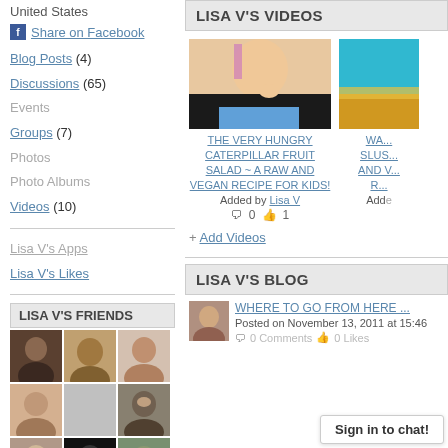United States
Share on Facebook
Blog Posts (4)
Discussions (65)
Events
Groups (7)
Photos
Photo Albums
Videos (10)
Lisa V's Apps
Lisa V's Likes
LISA V'S FRIENDS
[Figure (photo): Grid of 9 friend profile thumbnails]
LISA V'S VIDEOS
[Figure (photo): Video thumbnail of a young girl with pink hair highlights]
THE VERY HUNGRY CATERPILLAR FRUIT SALAD ~ A RAW AND VEGAN RECIPE FOR KIDS!
Added by Lisa V
0  1
[Figure (photo): Partial video thumbnail showing sky/water scene]
WA... SLUS... AND V... R...
+ Add Videos
LISA V'S BLOG
WHERE TO GO FROM HERE ...
Posted on November 13, 2011 at 15:46
Sign in to chat!